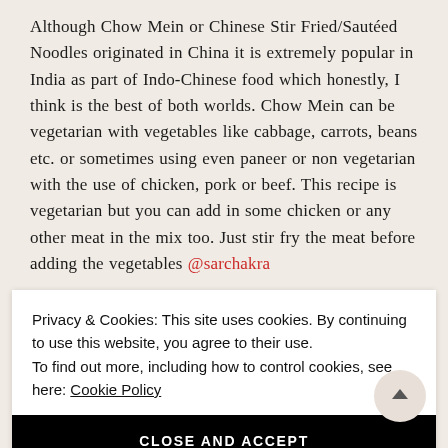Although Chow Mein or Chinese Stir Fried/Sautéed Noodles originated in China it is extremely popular in India as part of Indo-Chinese food which honestly, I think is the best of both worlds. Chow Mein can be vegetarian with vegetables like cabbage, carrots, beans etc. or sometimes using even paneer or non vegetarian with the use of chicken, pork or beef. This recipe is vegetarian but you can add in some chicken or any other meat in the mix too. Just stir fry the meat before adding the vegetables @sarchakra
Privacy & Cookies: This site uses cookies. By continuing to use this website, you agree to their use.
To find out more, including how to control cookies, see here: Cookie Policy
CLOSE AND ACCEPT